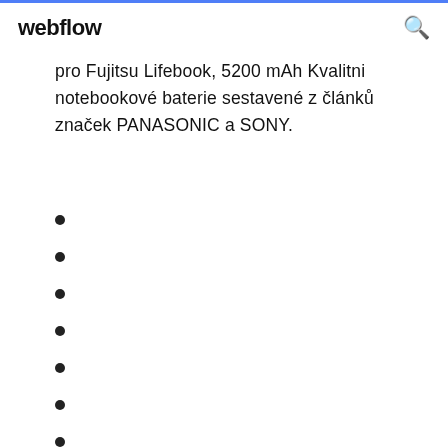webflow
pro Fujitsu Lifebook, 5200 mAh Kvalitni notebookové baterie sestavené z článků značek PANASONIC a SONY.